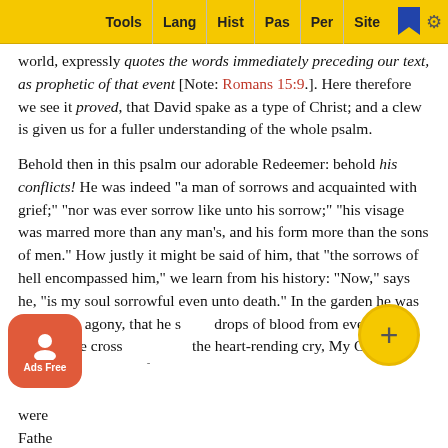Tools | Lang | Hist | Pas | Per | Site
world, expressly quotes the words immediately preceding our text, as prophetic of that event [Note: Romans 15:9.]. Here therefore we see it proved, that David spake as a type of Christ; and a clew is given us for a fuller understanding of the whole psalm.
Behold then in this psalm our adorable Redeemer: behold his conflicts! He was indeed “a man of sorrows and acquainted with grief;” “nor was ever sorrow like unto his sorrow;” “his visage was marred more than any man’s, and his form more than the sons of men.” How justly it might be said of him, that “the sorrows of hell encompassed him,” we learn from his history: “Now,” says he, “is my soul sorrowful even unto death.” In the garden he was in such an agony, that he sweat drops of blood from every pore. And on the cross he uttered the heart-rending cry, My God, my God! why hast thou forsaken me? —his last words before he gave up the ghost were — Father, into thy hands I commend my spirit — a divine